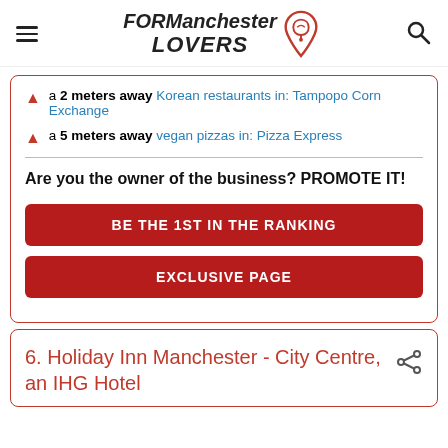FOR Manchester LOVERS
a 2 meters away Korean restaurants in: Tampopo Corn Exchange
a 5 meters away vegan pizzas in: Pizza Express
Are you the owner of the business? PROMOTE IT!
BE THE 1ST IN THE RANKING
EXCLUSIVE PAGE
6. Holiday Inn Manchester - City Centre, an IHG Hotel